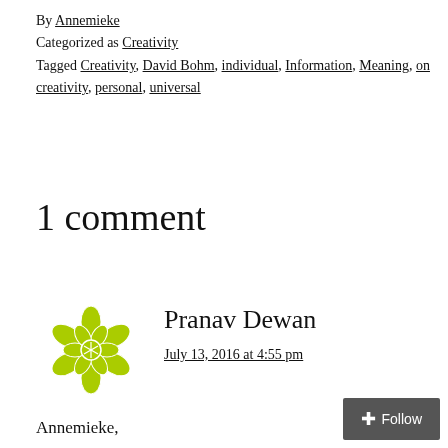By Annemieke
Categorized as Creativity
Tagged Creativity, David Bohm, individual, Information, Meaning, on creativity, personal, universal
1 comment
[Figure (logo): Green geometric mandala/flower logo for user Pranav Dewan]
Pranav Dewan
July 13, 2016 at 4:55 pm
Annemieke,